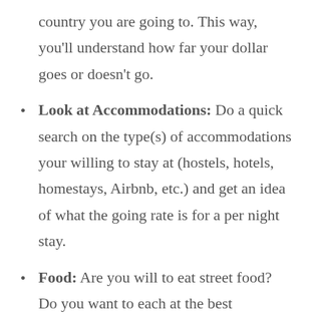country you are going to. This way, you'll understand how far your dollar goes or doesn't go.
Look at Accommodations: Do a quick search on the type(s) of accommodations your willing to stay at (hostels, hotels, homestays, Airbnb, etc.) and get an idea of what the going rate is for a per night stay.
Food: Are you will to eat street food? Do you want to each at the best restaurants and cafes in the area? Or a little bit of both? You need to figure this out and based on the country currency/exchange rate you'll be able to get a better idea of your food expense.